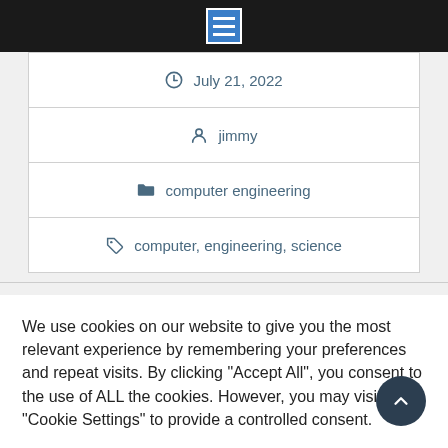[Figure (other): Navigation hamburger menu icon (three white lines on blue square background) in a black top bar]
July 21, 2022
jimmy
computer engineering
computer, engineering, science
We use cookies on our website to give you the most relevant experience by remembering your preferences and repeat visits. By clicking "Accept All", you consent to the use of ALL the cookies. However, you may visit "Cookie Settings" to provide a controlled consent.
Cookie Settings
Accept All